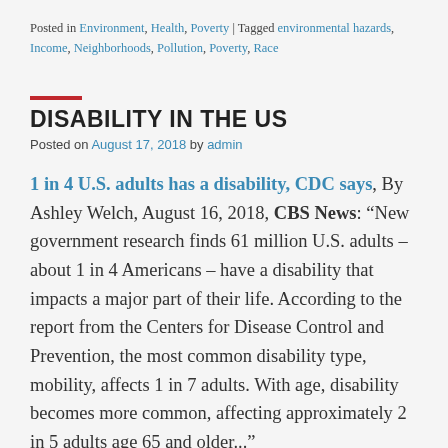Posted in Environment, Health, Poverty | Tagged environmental hazards, Income, Neighborhoods, Pollution, Poverty, Race
DISABILITY IN THE US
Posted on August 17, 2018 by admin
1 in 4 U.S. adults has a disability, CDC says, By Ashley Welch, August 16, 2018, CBS News: “New government research finds 61 million U.S. adults – about 1 in 4 Americans – have a disability that impacts a major part of their life. According to the report from the Centers for Disease Control and Prevention, the most common disability type, mobility, affects 1 in 7 adults. With age, disability becomes more common, affecting approximately 2 in 5 adults age 65 and older...”